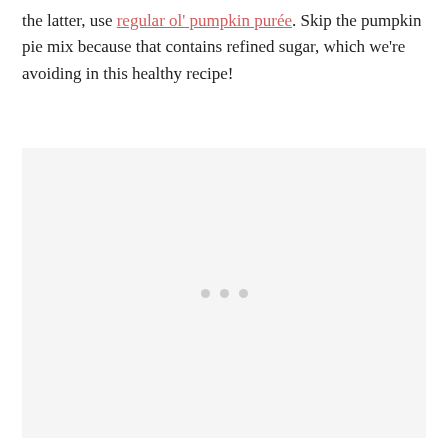the latter, use regular ol' pumpkin purée. Skip the pumpkin pie mix because that contains refined sugar, which we're avoiding in this healthy recipe!
[Figure (photo): A light gray placeholder image box with three small gray loading dots centered near the bottom, indicating an image that has not yet loaded.]